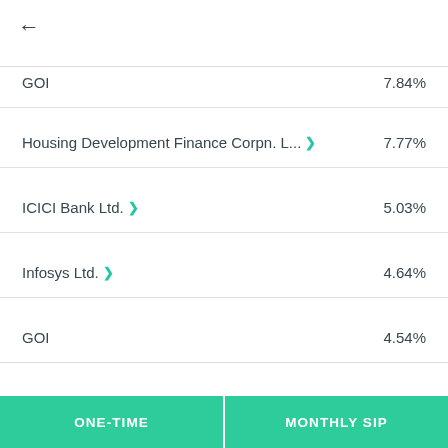GOI  7.84%
Housing Development Finance Corpn. L...  7.77%
ICICI Bank Ltd.  5.03%
Infosys Ltd.  4.64%
GOI  4.54%
Hindustan Unilever Ltd.  1.93%
ONE-TIME  MONTHLY SIP